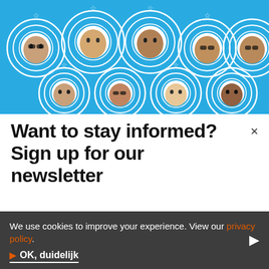[Figure (illustration): Blue background illustration showing 9 people's faces arranged in two rows inside concentric white circles, styled like a retro graphic design with small stars above the circles.]
Want to stay informed? Sign up for our newsletter
First name   Last name
We use cookies to improve your experience. View our privacy policy.
► OK, duidelijk